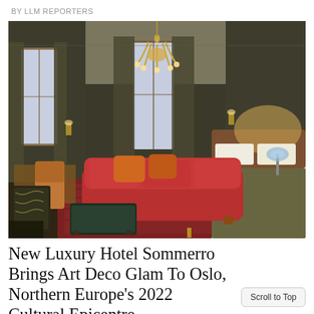BY LLM REPORTERS
[Figure (photo): Luxury hotel room with Art Deco styling. Features dark olive-green walls, an ornate gold chandelier, a large red velvet sofa with orange cushions, patterned rugs, a dark green tufted ottoman, a wooden desk with tan leather chair, wall sconces, a king bed with a decorative headboard, and a table lamp. Rich, moody, glamorous interior.]
New Luxury Hotel Sommerro Brings Art Deco Glam To Oslo, Northern Europe's 2022 Cultural Epicentre